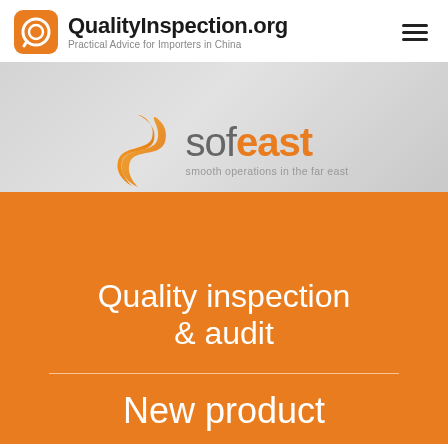QualityInspection.org — Practical Advice for Importers in China
[Figure (logo): Sofeast logo with orange S icon and text 'sofeast — smooth operations in the far east', displayed on a light grey background with a blurred factory/office scene behind]
Quality inspection & audit
New product